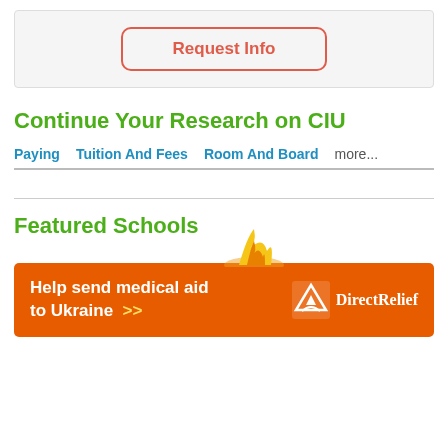[Figure (other): Request Info button inside a light gray box with rounded red/salmon border]
Continue Your Research on CIU
Paying   Tuition And Fees   Room And Board   more...
Featured Schools
[Figure (infographic): Orange advertisement banner: 'Help send medical aid to Ukraine >>' with Direct Relief logo on the right]